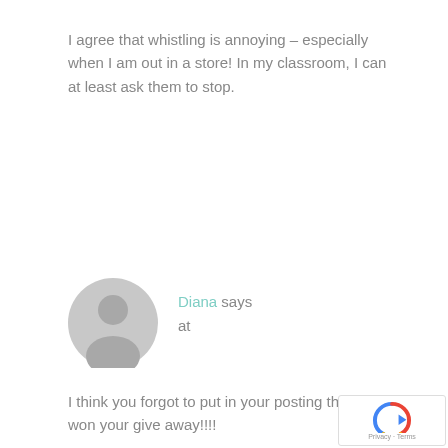I agree that whistling is annoying – especially when I am out in a store! In my classroom, I can at least ask them to stop.
[Figure (illustration): Gray default user avatar circle with person silhouette]
Diana says at
I think you forgot to put in your posting that I won your give away!!!!